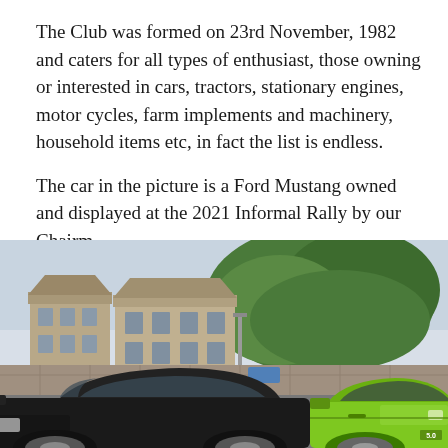The Club was formed on 23rd November, 1982 and caters for all types of enthusiast, those owning or interested in cars, tractors, stationary engines, motor cycles, farm implements and machinery, household items etc, in fact the list is endless.
The car in the picture is a Ford Mustang owned and displayed at the 2021 Informal Rally by our Chairm
[Figure (photo): Outdoor photo showing a car park scene with two cars in the foreground — a black car on the left and a bright green Ford Mustang 5.0 on the right. Behind them is a low stone wall, and beyond that are stone residential buildings and a large leafy green tree against a pale sky.]